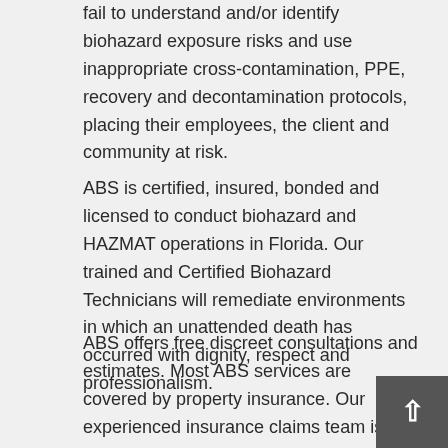fail to understand and/or identify biohazard exposure risks and use inappropriate cross-contamination, PPE, recovery and decontamination protocols, placing their employees, the client and community at risk.
ABS is certified, insured, bonded and licensed to conduct biohazard and HAZMAT operations in Florida. Our trained and Certified Biohazard Technicians will remediate environments in which an unattended death has occurred with dignity, respect and professionalism.
ABS offers free discreet consultations and estimates. Most ABS services are covered by property insurance. Our experienced insurance claims team is fully committed to you and your rights to fair and just insurance benefits. Where coverage is available, ABS is strategic and resolute in helping clients obtain their maximum policy benefits. For more information please contact one of our Certified BioRecovery